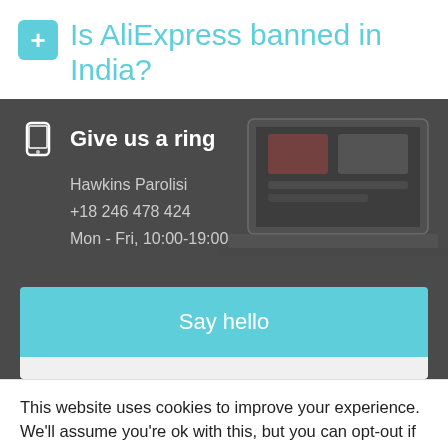Is AliExpress banned in India?
Give us a ring
Hawkins Parolisi
+18 246 478 424
Mon - Fri, 10:00-19:00
Say hello
This website uses cookies to improve your experience. We'll assume you're ok with this, but you can opt-out if you wish.
Accept    Read More